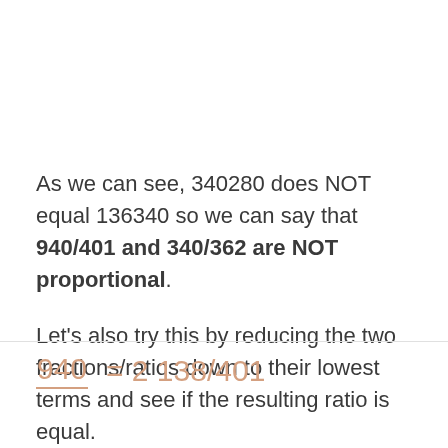As we can see, 340280 does NOT equal 136340 so we can say that 940/401 and 340/362 are NOT proportional.
Let's also try this by reducing the two fractions/ratios down to their lowest terms and see if the resulting ratio is equal.